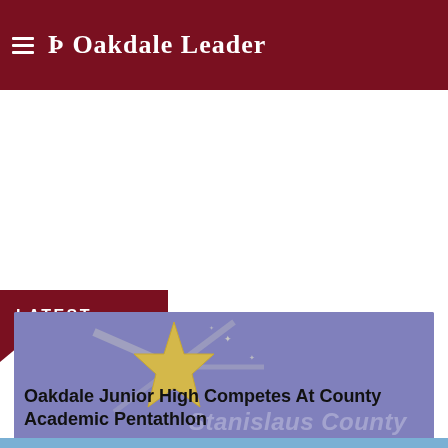☰ Þ Oakdale Leader
LATEST
[Figure (illustration): Stanislaus County Academic Pentathlon logo: purple/lavender background with a gold star radiating light, and watermark text 'Stanislaus County' in lower right.]
Oakdale Junior High Competes At County Academic Pentathlon